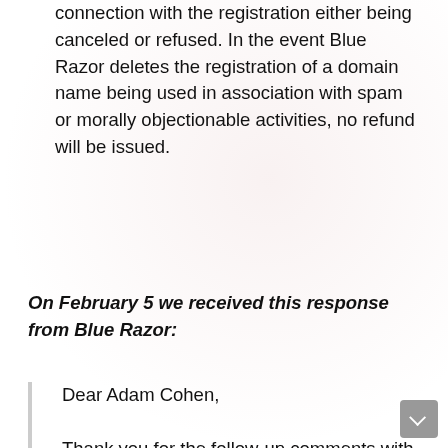connection with the registration either being canceled or refused. In the event Blue Razor deletes the registration of a domain name being used in association with spam or morally objectionable activities, no refund will be issued.
On February 5 we received this response from Blue Razor:
Dear Adam Cohen,

Thank you for the follow-up comments with our office.

Given that this site is not hosted with us, we suggest you contact law enforcement if you